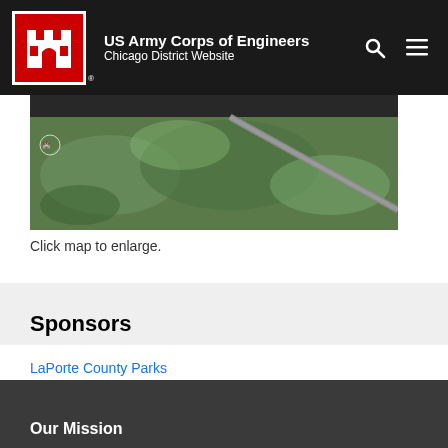US Army Corps of Engineers Chicago District Website
[Figure (map): Aerial satellite map image showing green landscape with road]
Click map to enlarge.
Sponsors
LaPorte County Parks
Our Mission